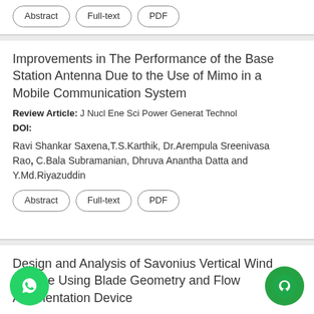Abstract  Full-text  PDF
Improvements in The Performance of the Base Station Antenna Due to the Use of Mimo in a Mobile Communication System
Review Article: J Nucl Ene Sci Power Generat Technol
DOI:
Ravi Shankar Saxena,T.S.Karthik, Dr.Arempula Sreenivasa Rao, C.Bala Subramanian, Dhruva Anantha Datta and Y.Md.Riyazuddin
Abstract  Full-text  PDF
Design and Analysis of Savonius Vertical Wind Turbine Using Blade Geometry and Flow Augmentation Device
Research Article: J Nucl Ene Sci Power Generat Technol
...an K and Jaganath Suriya S
Abstract  Full-text  PDF